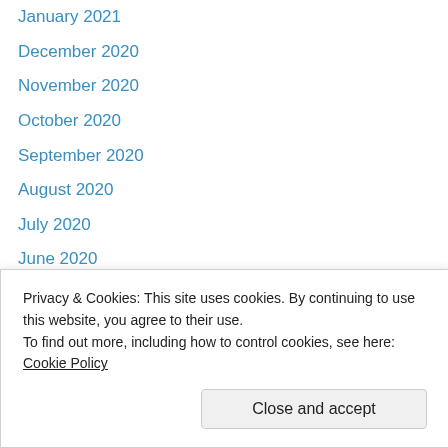January 2021
December 2020
November 2020
October 2020
September 2020
August 2020
July 2020
June 2020
May 2020
April 2020
March 2020
February 2020
January 2020
Privacy & Cookies: This site uses cookies. By continuing to use this website, you agree to their use. To find out more, including how to control cookies, see here: Cookie Policy
June 2019